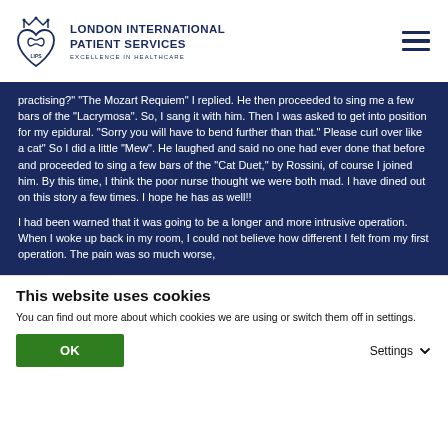[Figure (logo): London International Patient Services logo with LIPS heart crown icon and text 'LONDON INTERNATIONAL PATIENT SERVICES EXCELLENCE IN HEALTHCARE']
practising?" "The Mozart Requiem" I replied. He then proceeded to sing me a few bars of the "Lacrymosa". So, I sang it with him. Then I was asked to get into position for my epidural. "Sorry you will have to bend further than that." Please curl over like a cat" So I did a little "Mew". He laughed and said no one had ever done that before and proceeded to sing a few bars of the "Cat Duet," by Rossini, of course I joined him. By this time, I think the poor nurse thought we were both mad. I have dined out on this story a few times. I hope he has as well!!
I had been warned that it was going to be a longer and more intrusive operation. When I woke up back in my room, I could not believe how different I felt from my first operation. The pain was so much worse,
This website uses cookies
You can find out more about which cookies we are using or switch them off in settings.